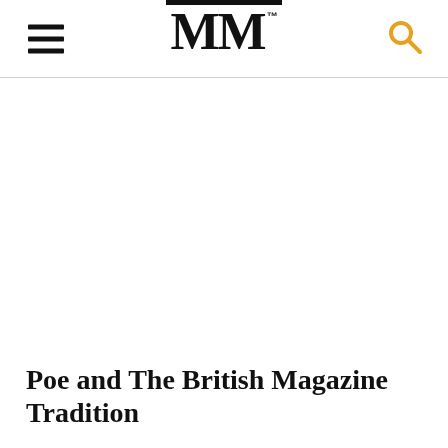MM™
Poe and The British Magazine Tradition